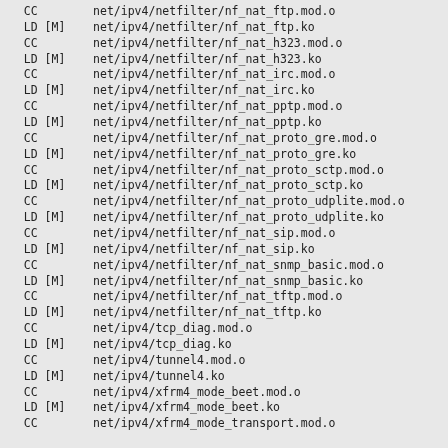CC        net/ipv4/netfilter/nf_nat_ftp.mod.o
  LD [M]    net/ipv4/netfilter/nf_nat_ftp.ko
  CC        net/ipv4/netfilter/nf_nat_h323.mod.o
  LD [M]    net/ipv4/netfilter/nf_nat_h323.ko
  CC        net/ipv4/netfilter/nf_nat_irc.mod.o
  LD [M]    net/ipv4/netfilter/nf_nat_irc.ko
  CC        net/ipv4/netfilter/nf_nat_pptp.mod.o
  LD [M]    net/ipv4/netfilter/nf_nat_pptp.ko
  CC        net/ipv4/netfilter/nf_nat_proto_gre.mod.o
  LD [M]    net/ipv4/netfilter/nf_nat_proto_gre.ko
  CC        net/ipv4/netfilter/nf_nat_proto_sctp.mod.o
  LD [M]    net/ipv4/netfilter/nf_nat_proto_sctp.ko
  CC        net/ipv4/netfilter/nf_nat_proto_udplite.mod.o
  LD [M]    net/ipv4/netfilter/nf_nat_proto_udplite.ko
  CC        net/ipv4/netfilter/nf_nat_sip.mod.o
  LD [M]    net/ipv4/netfilter/nf_nat_sip.ko
  CC        net/ipv4/netfilter/nf_nat_snmp_basic.mod.o
  LD [M]    net/ipv4/netfilter/nf_nat_snmp_basic.ko
  CC        net/ipv4/netfilter/nf_nat_tftp.mod.o
  LD [M]    net/ipv4/netfilter/nf_nat_tftp.ko
  CC        net/ipv4/tcp_diag.mod.o
  LD [M]    net/ipv4/tcp_diag.ko
  CC        net/ipv4/tunnel4.mod.o
  LD [M]    net/ipv4/tunnel4.ko
  CC        net/ipv4/xfrm4_mode_beet.mod.o
  LD [M]    net/ipv4/xfrm4_mode_beet.ko
  CC        net/ipv4/xfrm4_mode_transport.mod.o